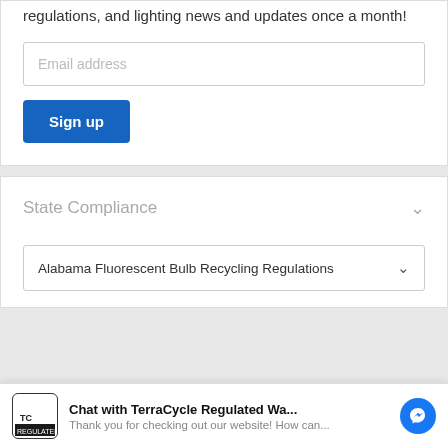regulations, and lighting news and updates once a month!
Email address
Sign up
State Compliance
Alabama Fluorescent Bulb Recycling Regulations
Chat with TerraCycle Regulated Wa...
Thank you for checking out our website! How can...